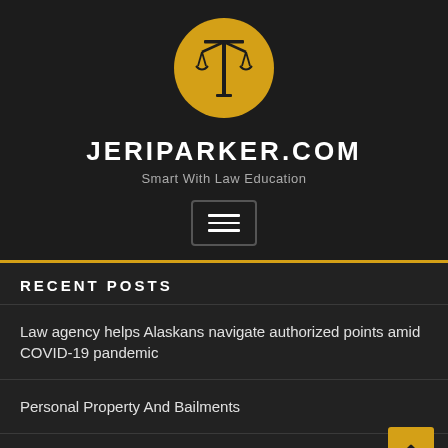[Figure (logo): Gold circle with scales of justice icon - JERIPARKER.COM logo]
JERIPARKER.COM
Smart With Law Education
[Figure (other): Hamburger menu button with three horizontal lines, dark bordered rectangle]
RECENT POSTS
Law agency helps Alaskans navigate authorized points amid COVID-19 pandemic
Personal Property And Bailments
Maine Business Attorneys